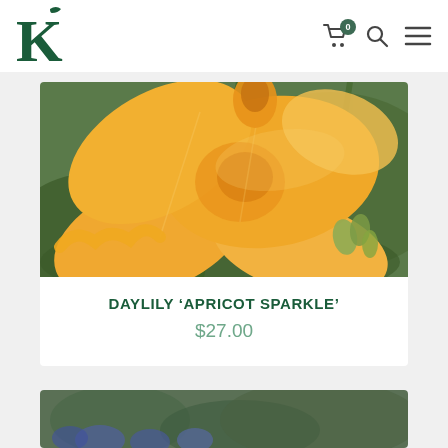K [logo] | cart (0) | search | menu
[Figure (photo): Close-up photograph of an apricot/orange daylily flower with soft yellow-orange petals and green foliage in the background]
DAYLILY ‘APRICOT SPARKLE’
$27.00
[Figure (photo): Partial view of another plant/flower product card at the bottom of the page]